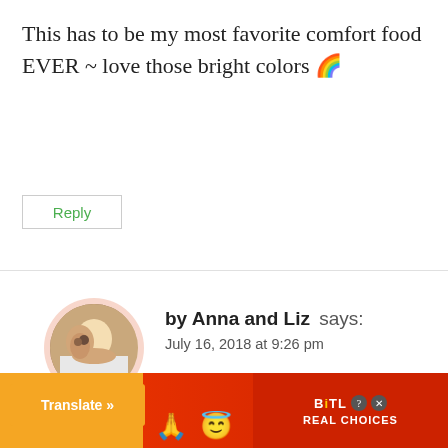This has to be my most favorite comfort food EVER ~ love those bright colors 🌈
Reply
by Anna and Liz says:
July 16, 2018 at 9:26 pm
[Figure (photo): Circular profile photo of two women, Anna and Liz]
Mine too! Thanks so much!
[Figure (infographic): Advertisement bar at bottom: orange Translate button on left, emoji figures in center, BitLife REAL CHOICES ad on right with red background]